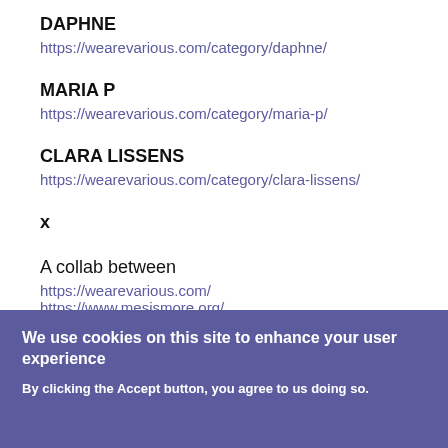DAPHNE
https://wearevarious.com/category/daphne/
MARIA P
https://wearevarious.com/category/maria-p/
CLARA LISSENS
https://wearevarious.com/category/clara-lissens/
x
A collab between
https://wearevarious.com/
https://www.mesismore.org/
We use cookies on this site to enhance your user experience
By clicking the Accept button, you agree to us doing so.